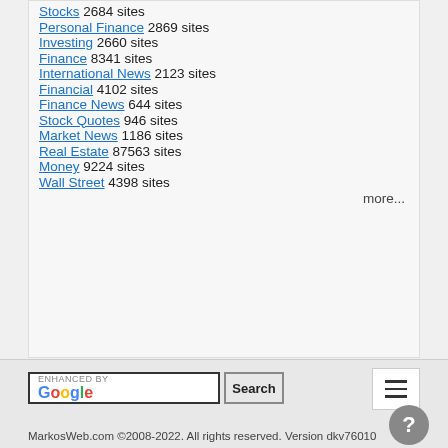Stocks  2684 sites
Personal Finance  2869 sites
Investing  2660 sites
Finance  8341 sites
International News  2123 sites
Financial  4102 sites
Finance News  644 sites
Stock Quotes  946 sites
Market News  1186 sites
Real Estate  87563 sites
Money  9224 sites
Wall Street  4398 sites
more...
MarkosWeb.com ©2008-2022. All rights reserved. Version dkv76010